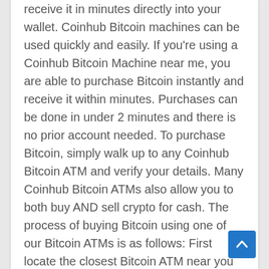receive it in minutes directly into your wallet. Coinhub Bitcoin machines can be used quickly and easily. If you're using a Coinhub Bitcoin Machine near me, you are able to purchase Bitcoin instantly and receive it within minutes. Purchases can be done in under 2 minutes and there is no prior account needed. To purchase Bitcoin, simply walk up to any Coinhub Bitcoin ATM and verify your details. Many Coinhub Bitcoin ATMs also allow you to both buy AND sell crypto for cash. The process of buying Bitcoin using one of our Bitcoin ATMs is as follows: First locate the closest Bitcoin ATM near you in your city by visiting our Coinhub Bitcoin ATM Locator. Walk up to the machine and enter your phone number. You will then verify your phone with a code and scan your bitcoin wallet. Enter each bill one at a time to determine the amount you wish to purchase. After that, confirm the purchase by entering the bitcoin atm. The bitcoin is instantly sent to